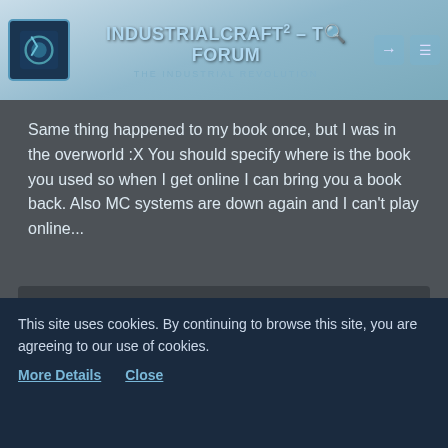IndustrialCraft² - The Forum · The Industrial Revolution
Same thing happened to my book once, but I was in the overworld :X You should specify where is the book you used so when I get online I can bring you a book back. Also MC systems are down again and I can't play online...
IC2 Gregtech Server [1.6.2]
MoltenX · Sep 28th 2013
Quote from ElectricOmatic
This site uses cookies. By continuing to browse this site, you are agreeing to our use of cookies.
More Details   Close